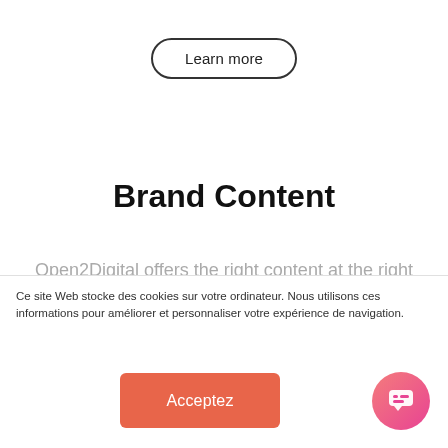[Figure (other): A pill-shaped button with border reading 'Learn more']
Brand Content
Open2Digital offers the right content at the right time. High value-added
Ce site Web stocke des cookies sur votre ordinateur. Nous utilisons ces informations pour améliorer et personnaliser votre expérience de navigation.
[Figure (other): Orange-red 'Acceptez' button]
[Figure (other): Pink gradient circular chat bubble icon]